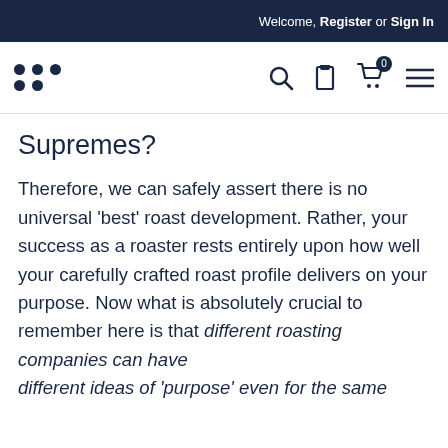Welcome, Register or Sign In
Supremes?
Therefore, we can safely assert there is no universal 'best' roast development. Rather, your success as a roaster rests entirely upon how well your carefully crafted roast profile delivers on your purpose. Now what is absolutely crucial to remember here is that different roasting companies can have different ideas of 'purpose' even for the same